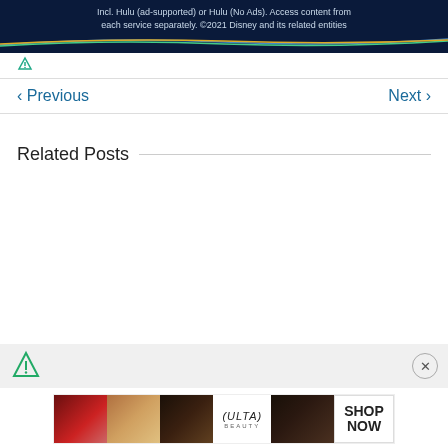[Figure (screenshot): Disney/Hulu ad banner with dark blue background, text reading 'Incl. Hulu (ad-supported) or Hulu (No Ads). Access content from each service separately. ©2021 Disney and its related entities', with colored wavy lines at the bottom]
< Previous   Next >
Related Posts
[Figure (screenshot): Ulta Beauty advertisement banner showing makeup images (lips, brush, eye, smoky eye) with Ulta logo and SHOP NOW text]